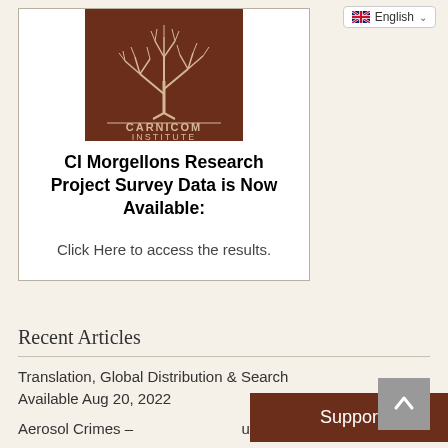[Figure (logo): Carnicom Institute logo: brown square background with white tree illustration and text 'CARNICOM INSTITUTE']
CI Morgellons Research Project Survey Data is Now Available:
Click Here to access the results.
Recent Articles
Translation, Global Distribution & Search Available Aug 20, 2022
Aerosol Crimes – … ute
Support Us